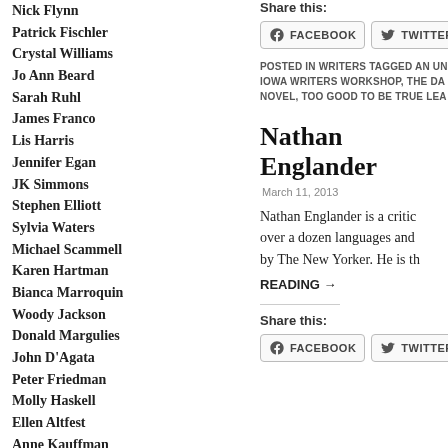Nick Flynn
Patrick Fischler
Crystal Williams
Jo Ann Beard
Sarah Ruhl
James Franco
Lis Harris
Jennifer Egan
JK Simmons
Stephen Elliott
Sylvia Waters
Michael Scammell
Karen Hartman
Bianca Marroquin
Woody Jackson
Donald Margulies
John D'Agata
Peter Friedman
Molly Haskell
Ellen Altfest
Anne Kauffman
Tim Davis
Jay Parini
Daniel Jenkins
Sam Means
Share this:
FACEBOOK
TWITTER
POSTED IN WRITERS TAGGED AN UN... IOWA WRITERS WORKSHOP, THE DA... NOVEL, TOO GOOD TO BE TRUE LEA...
Nathan Englander
March 11, 2013
Nathan Englander is a critic... over a dozen languages and... by The New Yorker. He is th...
READING →
Share this:
FACEBOOK
TWITTER